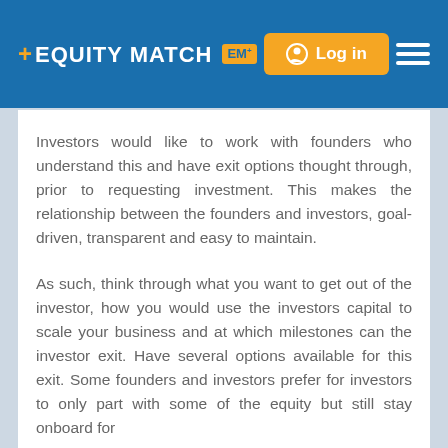[Figure (screenshot): Equity Match website header with logo, Log in button, and hamburger menu on blue background]
Investors would like to work with founders who understand this and have exit options thought through, prior to requesting investment. This makes the relationship between the founders and investors, goal-driven, transparent and easy to maintain.
As such, think through what you want to get out of the investor, how you would use the investors capital to scale your business and at which milestones can the investor exit. Have several options available for this exit. Some founders and investors prefer for investors to only part with some of the equity but still stay onboard for